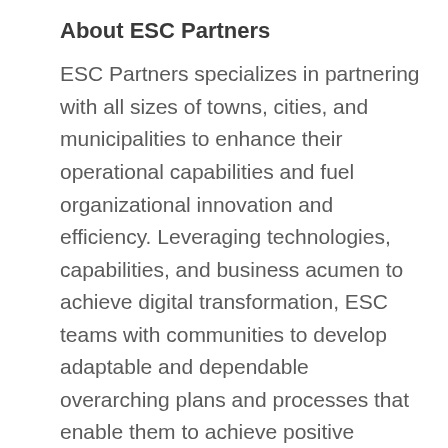About ESC Partners
ESC Partners specializes in partnering with all sizes of towns, cities, and municipalities to enhance their operational capabilities and fuel organizational innovation and efficiency. Leveraging technologies, capabilities, and business acumen to achieve digital transformation, ESC teams with communities to develop adaptable and dependable overarching plans and processes that enable them to achieve positive business outcomes. A global provider of a myriad of solutions from system integration to business process engineering and across multiple utility and